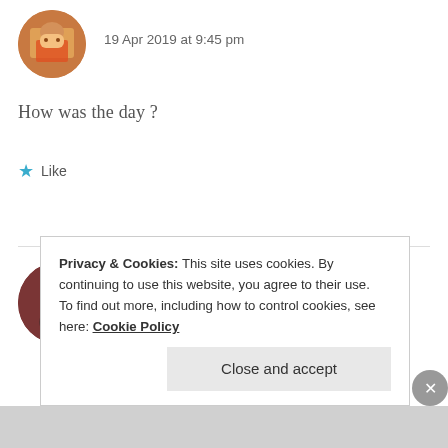[Figure (photo): Circular avatar image of a person in colorful traditional attire]
19 Apr 2019 at 9:45 pm
How was the day ?
★ Like
[Figure (photo): Circular avatar image of a person with dark hair]
ZEALOUS HOMO SAPIENS
19 Apr 2019 at 9:51 pm
Privacy & Cookies: This site uses cookies. By continuing to use this website, you agree to their use.
To find out more, including how to control cookies, see here: Cookie Policy
Close and accept